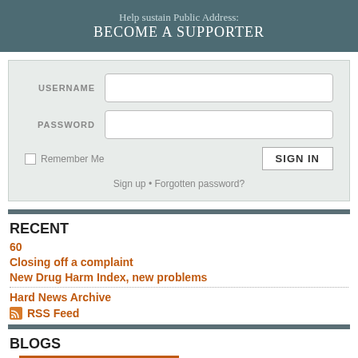Help sustain Public Address: BECOME A SUPPORTER
[Figure (other): Login form with USERNAME and PASSWORD fields, Remember Me checkbox, SIGN IN button, Sign up and Forgotten password links]
RECENT
60
Closing off a complaint
New Drug Harm Index, new problems
Hard News Archive
RSS Feed
BLOGS
Hard News
Up Front
Cracker
Muse